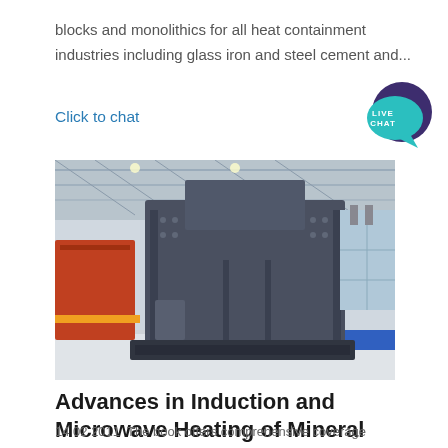blocks and monolithics for all heat containment industries including glass iron and steel cement and...
Click to chat
[Figure (other): Live Chat speech bubble badge icon in teal and dark purple]
[Figure (photo): Large industrial machine (induction/microwave heating equipment) in a warehouse/factory setting with high ceilings and large windows]
Advances in Induction and Microwave Heating of Mineral and
14 02 2011  The book offers comprehensive coverage